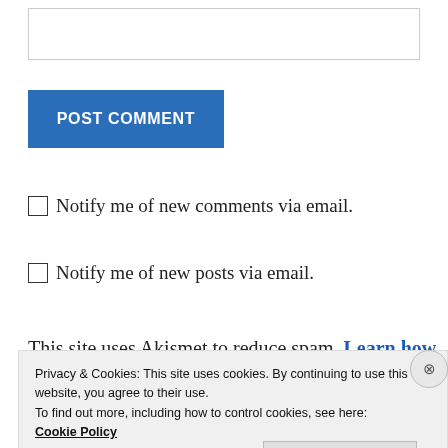[Figure (other): Text input box (form field)]
POST COMMENT
Notify me of new comments via email.
Notify me of new posts via email.
This site uses Akismet to reduce spam. Learn how
Privacy & Cookies: This site uses cookies. By continuing to use this website, you agree to their use.
To find out more, including how to control cookies, see here:
Cookie Policy
Close and accept